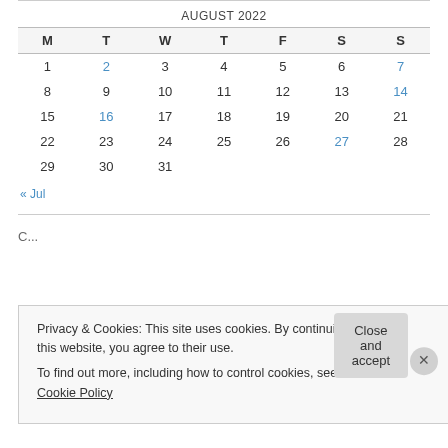| M | T | W | T | F | S | S |
| --- | --- | --- | --- | --- | --- | --- |
| 1 | 2 | 3 | 4 | 5 | 6 | 7 |
| 8 | 9 | 10 | 11 | 12 | 13 | 14 |
| 15 | 16 | 17 | 18 | 19 | 20 | 21 |
| 22 | 23 | 24 | 25 | 26 | 27 | 28 |
| 29 | 30 | 31 |  |  |  |  |
« Jul
Privacy & Cookies: This site uses cookies. By continuing to use this website, you agree to their use.
To find out more, including how to control cookies, see here: Cookie Policy
Close and accept